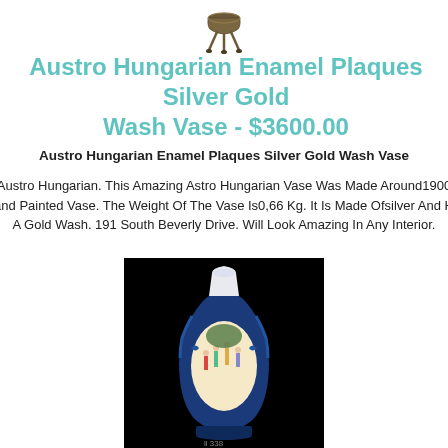[Figure (photo): Small bronze tripod incense burner or censer on three legs, photographed against white background]
Austro Hungarian Enamel Plaques Silver Gold Wash Vase - $3600.00
Austro Hungarian Enamel Plaques Silver Gold Wash Vase
Austro Hungarian. This Amazing Astro Hungarian Vase Was Made Around1900 and Painted Vase. The Weight Of The Vase Is0,66 Kg. It Is Made Ofsilver And H A Gold Wash. 191 South Beverly Drive. Will Look Amazing In Any Interior.
[Figure (photo): Blue and white Chinese porcelain meiping vase with hand-painted scene of figures in a garden, photographed against black background]